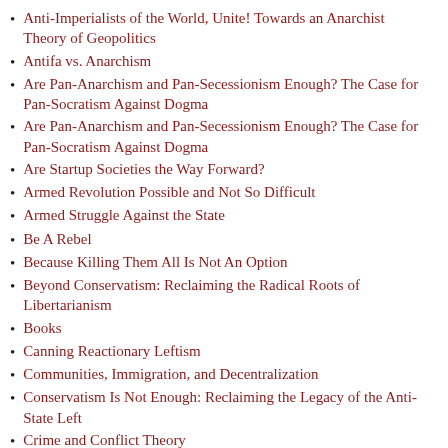Anti-Imperialists of the World, Unite! Towards an Anarchist Theory of Geopolitics
Antifa vs. Anarchism
Are Pan-Anarchism and Pan-Secessionism Enough? The Case for Pan-Socratism Against Dogma
Are Pan-Anarchism and Pan-Secessionism Enough? The Case for Pan-Socratism Against Dogma
Are Startup Societies the Way Forward?
Armed Revolution Possible and Not So Difficult
Armed Struggle Against the State
Be A Rebel
Because Killing Them All Is Not An Option
Beyond Conservatism: Reclaiming the Radical Roots of Libertarianism
Books
Canning Reactionary Leftism
Communities, Immigration, and Decentralization
Conservatism Is Not Enough: Reclaiming the Legacy of the Anti-State Left
Crime and Conflict Theory
Critique of the Americans For Self-Determination Plan for Separatism and Decentralism